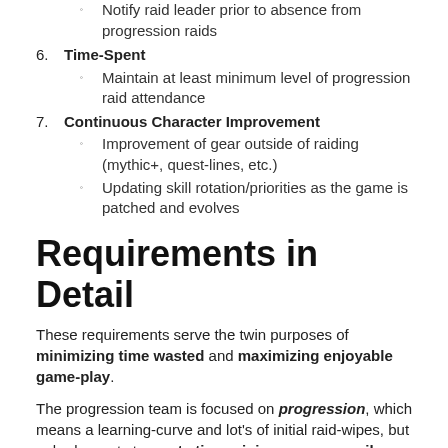Notify raid leader prior to absence from progression raids
6. Time-Spent
Maintain at least minimum level of progression raid attendance
7. Continuous Character Improvement
Improvement of gear outside of raiding (mythic+, quest-lines, etc.)
Updating skill rotation/priorities as the game is patched and evolves
Requirements in Detail
These requirements serve the twin purposes of minimizing time wasted and maximizing enjoyable game-play.
The progression team is focused on progression, which means a learning-curve and lot’s of initial raid-wipes, but nobody wants to waste time wiping unnecessarily.
Raid encounters are complex and involve dozens of people in various roles. Each person can be (and often is) individually responsible for causing a wipe, for a multitude of reasons.
Further, different raid compositions (mixtures of classes and specs) also influence the difficulties of the encounters.
An enjoyable progression raiding experience therefore requires